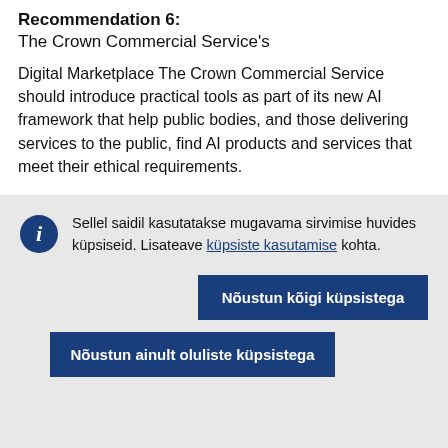Recommendation 6:
The Crown Commercial Service's
Digital Marketplace The Crown Commercial Service should introduce practical tools as part of its new AI framework that help public bodies, and those delivering services to the public, find AI products and services that meet their ethical requirements.
Sellel saidil kasutatakse mugavama sirvimise huvides küpsiseid. Lisateave küpsiste kasutamise kohta.
Nõustun kõigi küpsistega
Nõustun ainult oluliste küpsistega